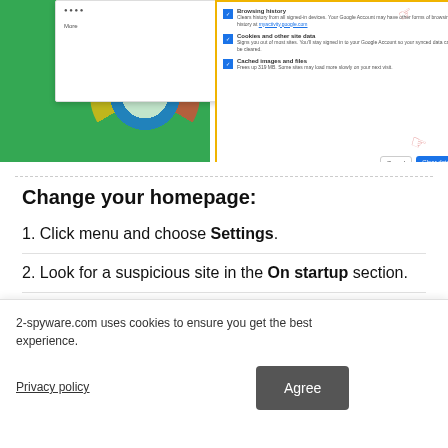[Figure (screenshot): Google Chrome browser screenshot showing 'Clear browsing data' dialog with checkboxes for Browsing history, Cookies and other site data, and Cached images and files. Green Chrome logo background visible on left. Yellow border frame. 2-spyware watermark visible.]
Change your homepage:
1. Click menu and choose Settings.
2. Look for a suspicious site in the On startup section.
2-spyware.com uses cookies to ensure you get the best experience.
Privacy policy
Agree